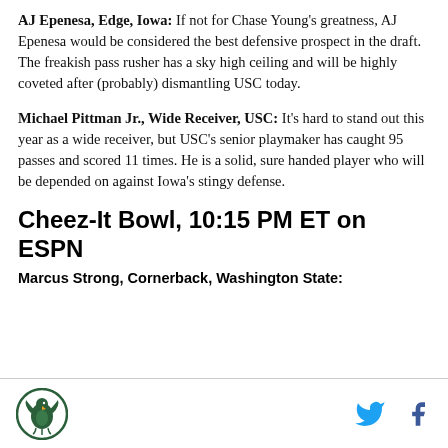AJ Epenesa, Edge, Iowa: If not for Chase Young's greatness, AJ Epenesa would be considered the best defensive prospect in the draft. The freakish pass rusher has a sky high ceiling and will be highly coveted after (probably) dismantling USC today.
Michael Pittman Jr., Wide Receiver, USC: It's hard to stand out this year as a wide receiver, but USC's senior playmaker has caught 95 passes and scored 11 times. He is a solid, sure handed player who will be depended on against Iowa's stingy defense.
Cheez-It Bowl, 10:15 PM ET on ESPN
Marcus Strong, Cornerback, Washington State:
SB Nation logo, Twitter icon, Facebook icon